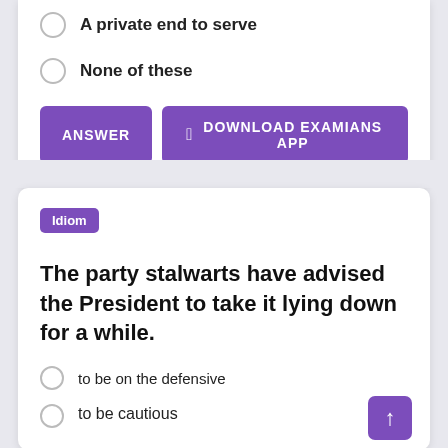A private end to serve
None of these
ANSWER   DOWNLOAD EXAMIANS APP
Idiom
The party stalwarts have advised the President to take it lying down for a while.
to be on the defensive
to be cautious